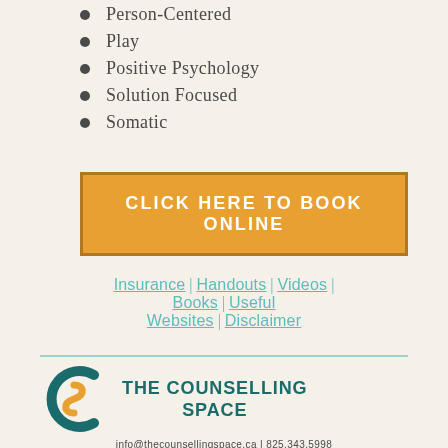Person-Centered
Play
Positive Psychology
Solution Focused
Somatic
CLICK HERE TO BOOK ONLINE
Insurance | Handouts | Videos | Books | Useful Websites | Disclaimer
[Figure (logo): The Counselling Space logo: teal and orange S-shaped icon with text THE COUNSELLING SPACE]
info@thecounsellingspace.ca | 825.343.5998